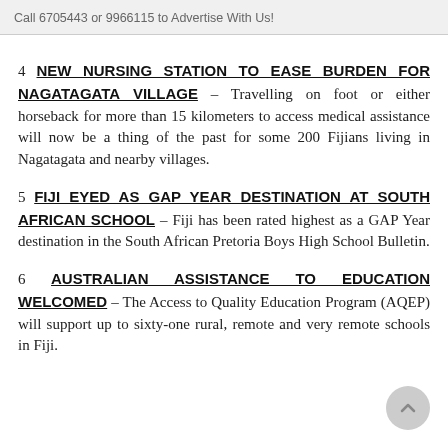Call 6705443 or 9966115 to Advertise With Us!
4 NEW NURSING STATION TO EASE BURDEN FOR NAGATAGATA VILLAGE – Travelling on foot or either horseback for more than 15 kilometers to access medical assistance will now be a thing of the past for some 200 Fijians living in Nagatagata and nearby villages.
5 FIJI EYED AS GAP YEAR DESTINATION AT SOUTH AFRICAN SCHOOL – Fiji has been rated highest as a GAP Year destination in the South African Pretoria Boys High School Bulletin.
6 AUSTRALIAN ASSISTANCE TO EDUCATION WELCOMED – The Access to Quality Education Program (AQEP) will support up to sixty-one rural, remote and very remote schools in Fiji.